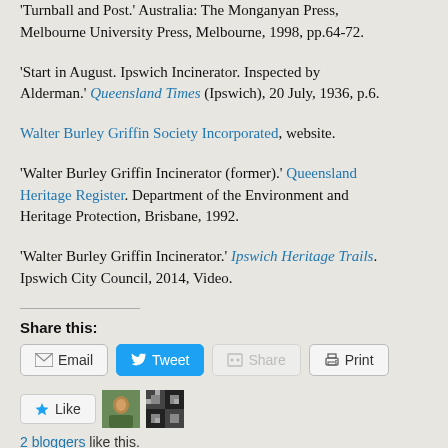'Turnball and Post.' Australia: The Monganyan Press, Melbourne University Press, Melbourne, 1998, pp.64-72.
'Start in August. Ipswich Incinerator. Inspected by Alderman.' Queensland Times (Ipswich), 20 July, 1936, p.6.
Walter Burley Griffin Society Incorporated, website.
'Walter Burley Griffin Incinerator (former).' Queensland Heritage Register. Department of the Environment and Heritage Protection, Brisbane, 1992.
'Walter Burley Griffin Incinerator.' Ipswich Heritage Trails. Ipswich City Council, 2014, Video.
Share this:
2 bloggers like this.